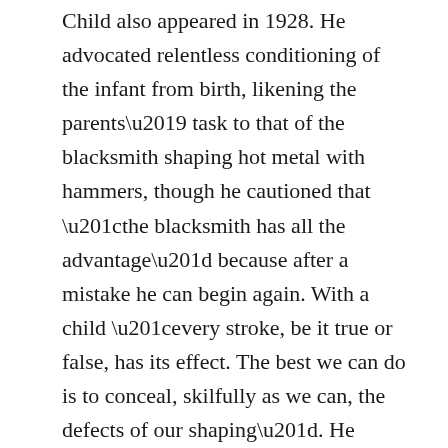Child also appeared in 1928. He advocated relentless conditioning of the infant from birth, likening the parents' task to that of the blacksmith shaping hot metal with hammers, though he cautioned that “the blacksmith has all the advantage” because after a mistake he can begin again. With a child “every stroke, be it true or false, has its effect. The best we can do is to conceal, skilfully as we can, the defects of our shaping”. He believed children should be treated as young adults: “Never kiss or hug them, never let them sit in your lap”. Marxist utopians were likewise supported in their belief that, with no basic human nature to stand in their way, social conditioning under communism would produce the new man and woman.
Mead’s seemingly authoritative evidence encouraged